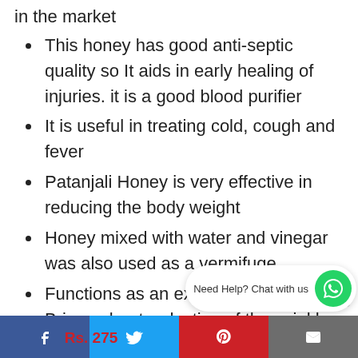in the market
This honey has good anti-septic quality so It aids in early healing of injuries. it is a good blood purifier
It is useful in treating cold, cough and fever
Patanjali Honey is very effective in reducing the body weight
Honey mixed with water and vinegar was also used as a vermifuge
Functions as an excellent antioxidant. Brings about reduction of the wrinkles, blemishes etc signs of aging
Antibacterial properties of honey are the result of the low water activity
Facebook | Twitter | Rs. 275 | Pinterest | Email